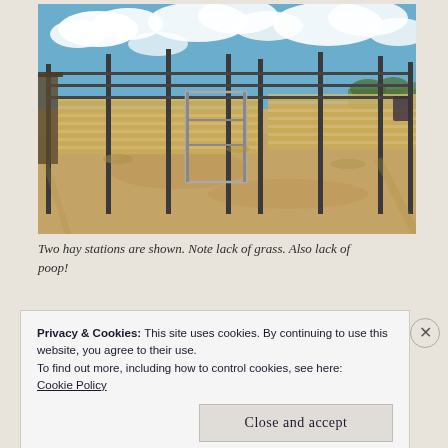[Figure (photo): Outdoor photograph of a ranch or farm pen area showing metal fencing structures, two hay stations, a wooden fence panel in the background, dry sandy/dirt ground with minimal grass and no visible animal waste. Blue sky with white clouds above.]
Two hay stations are shown. Note lack of grass. Also lack of poop!
Privacy & Cookies: This site uses cookies. By continuing to use this website, you agree to their use.
To find out more, including how to control cookies, see here: Cookie Policy
Close and accept